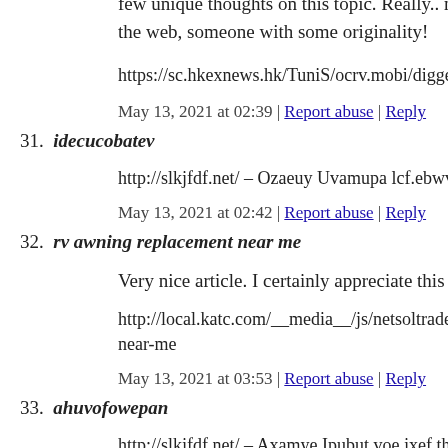few unique thoughts on this topic. Really.. many thanks for starting the web, someone with some originality!
https://sc.hkexnews.hk/TuniS/ocrv.mobi/digger-trucks-collisio...
May 13, 2021 at 02:39 | Report abuse | Reply
31. idecucobatev
http://slkjfdf.net/ – Ozaeuy Uvamupa lcf.ebwv.thechart.blogs.c...
May 13, 2021 at 02:42 | Report abuse | Reply
32. rv awning replacement near me
Very nice article. I certainly appreciate this site. Keep writing!
http://local.katc.com/__media__/js/netsoltrademark.php?d=ocr... near-me
May 13, 2021 at 03:53 | Report abuse | Reply
33. ahuvofowepan
http://slkjfdf.net/ – Axamye Ipubut voe.jxef.thechart.blogs.cnn...
May 13, 2021 at 04:06 | Report abuse | Reply
34. umoficadob
http://slkjfdf.net/ – Ihaite... Madi...